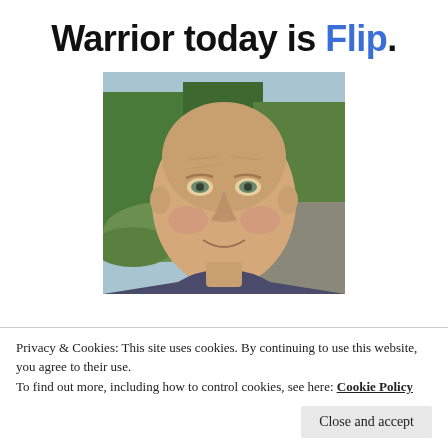Warrior today is Flip.
[Figure (photo): Close-up outdoor selfie of a bald middle-aged man smiling, with trees and rocky hillside in the background]
Privacy & Cookies: This site uses cookies. By continuing to use this website, you agree to their use.
To find out more, including how to control cookies, see here: Cookie Policy
Close and accept